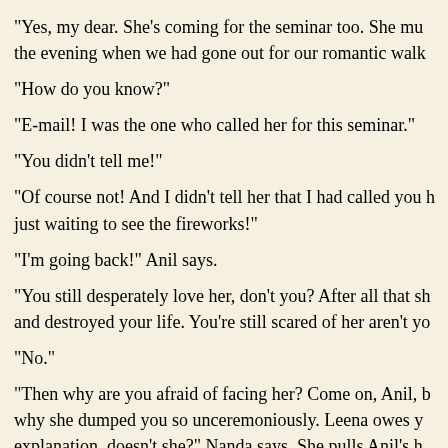“Yes, my dear. She’s coming for the seminar too. She mu the evening when we had gone out for our romantic walk
“How do you know?”
“E-mail! I was the one who called her for this seminar.”
“You didn’t tell me!”
“Of course not! And I didn’t tell her that I had called you h just waiting to see the fireworks!”
“I’m going back!” Anil says.
“You still desperately love her, don’t you? After all that sh and destroyed your life. You’re still scared of her aren’t yo
“No.”
“Then why are you afraid of facing her? Come on, Anil, b why she dumped you so unceremoniously. Leena owes y explanation, doesn’t she?” Nanda says. She pulls Anil’s h “Come. We’ll go to the reception and find out in which ro staying.”